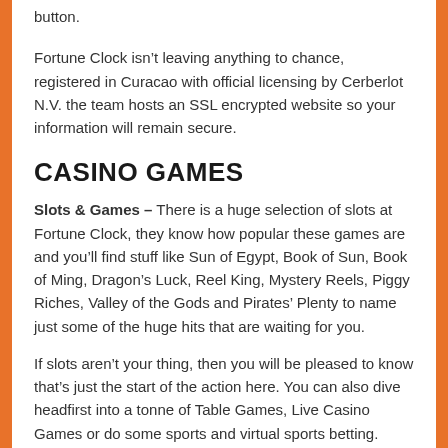button.
Fortune Clock isn’t leaving anything to chance, registered in Curacao with official licensing by Cerberlot N.V. the team hosts an SSL encrypted website so your information will remain secure.
CASINO GAMES
Slots & Games – There is a huge selection of slots at Fortune Clock, they know how popular these games are and you’ll find stuff like Sun of Egypt, Book of Sun, Book of Ming, Dragon’s Luck, Reel King, Mystery Reels, Piggy Riches, Valley of the Gods and Pirates’ Plenty to name just some of the huge hits that are waiting for you.
If slots aren’t your thing, then you will be pleased to know that’s just the start of the action here. You can also dive headfirst into a tonne of Table Games, Live Casino Games or do some sports and virtual sports betting.